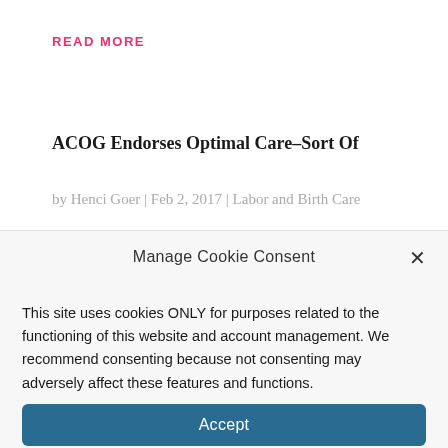READ MORE
ACOG Endorses Optimal Care–Sort Of
by Henci Goer | Feb 2, 2017 | Labor and Birth Care
Manage Cookie Consent
This site uses cookies ONLY for purposes related to the functioning of this website and account management. We recommend consenting because not consenting may adversely affect these features and functions.
Accept